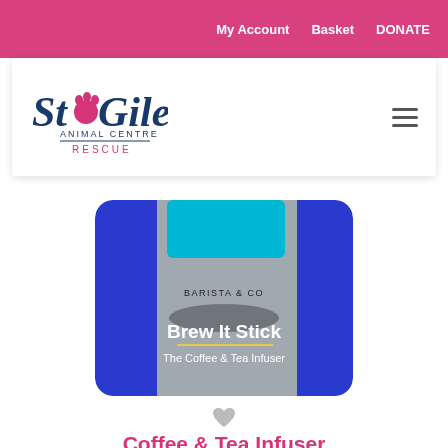My Account  Basket  DONATE
[Figure (logo): St Giles Animal Centre Rescue logo with paw print]
[Figure (photo): Barista & Co Brew It Stick - The Coffee & Tea Infuser product box on blue background]
Coffee & Tea Infuser
The Brew It Stick from Barista & Co brews a delicious, light coffee with ease, also use for tea.